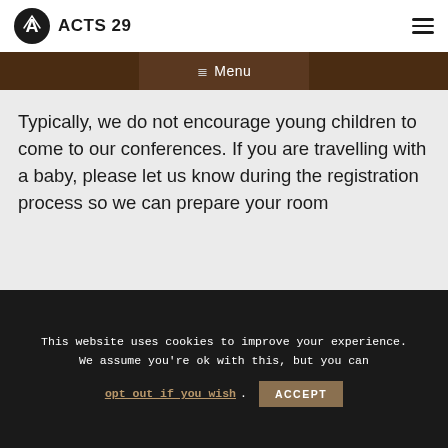ACTS 29
≔ Menu
Typically, we do not encourage young children to come to our conferences. If you are travelling with a baby, please let us know during the registration process so we can prepare your room
This website uses cookies to improve your experience. We assume you're ok with this, but you can opt out if you wish. ACCEPT